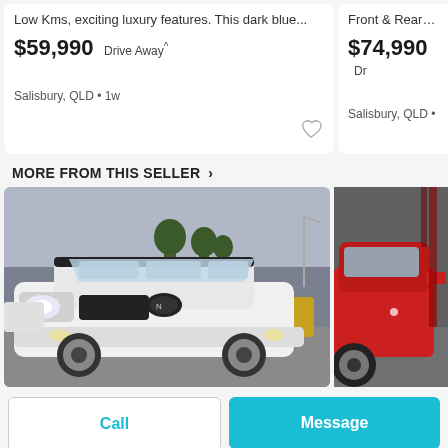Low Kms, exciting luxury features. This dark blue...
$59,990 Drive Away^
Salisbury, QLD • 1w
Front & Rear S...
$74,990 Dr
Salisbury, QLD •
MORE FROM THIS SELLER >
[Figure (photo): White Nissan X-Trail SUV parked in a car dealership lot]
[Figure (photo): Red car, partial view of side profile, at dealership]
Call
Message
Posted by: Aussie First Car - Stones Corner